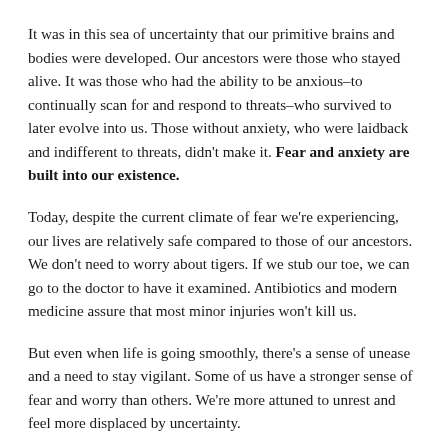It was in this sea of uncertainty that our primitive brains and bodies were developed. Our ancestors were those who stayed alive. It was those who had the ability to be anxious–to continually scan for and respond to threats–who survived to later evolve into us. Those without anxiety, who were laidback and indifferent to threats, didn't make it. Fear and anxiety are built into our existence.
Today, despite the current climate of fear we're experiencing, our lives are relatively safe compared to those of our ancestors. We don't need to worry about tigers. If we stub our toe, we can go to the doctor to have it examined. Antibiotics and modern medicine assure that most minor injuries won't kill us.
But even when life is going smoothly, there's a sense of unease and a need to stay vigilant. Some of us have a stronger sense of fear and worry than others. We're more attuned to unrest and feel more displaced by uncertainty.
Now that we have the very real threats of COVID-19, job uncertainty, civil unrest, and more, our fears aren't staying in the background. The strain that the fear foments from our minds...